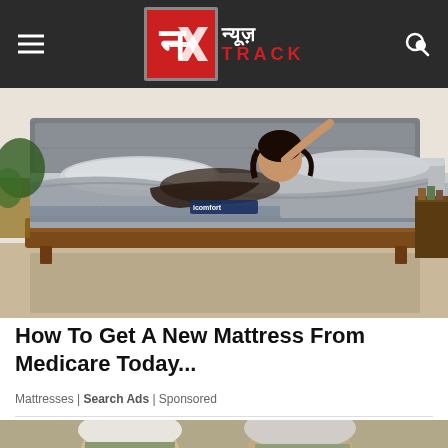न्यूज़ TRACK
[Figure (photo): Woman lying on a Serta iComfort adjustable mattress in a bedroom setting]
How To Get A New Mattress From Medicare Today...
Mattresses | Search Ads | Sponsored
[Figure (photo): Partial view of people's faces at the bottom of the page]